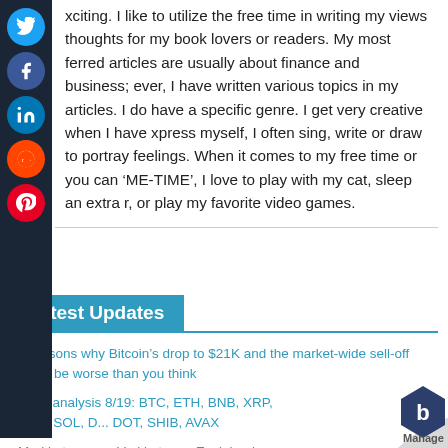xciting. I like to utilize the free time in writing my views thoughts for my book lovers or readers. My most ferred articles are usually about finance and business; ever, I have written various topics in my articles. I do have a specific genre. I get very creative when I have xpress myself, I often sing, write or draw to portray feelings. When it comes to my free time or you can 'ME-TIME', I love to play with my cat, sleep an extra r, or play my favorite video games.
Latest Updates
3 reasons why Bitcoin’s drop to $21K and the market-wide sell-off could be worse than you think
Price analysis 8/19: BTC, ETH, BNB, XRP, ADA, SOL, D... DOT, SHIB, AVAX
Merkle trees vs. Verkle trees, Explained